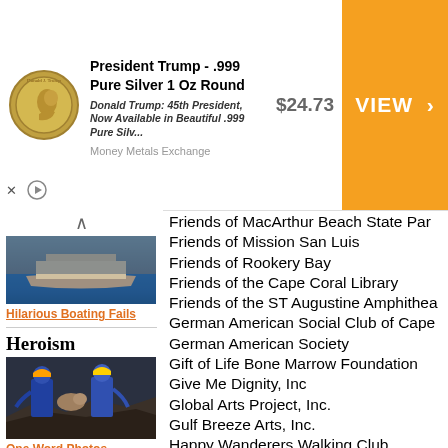[Figure (other): Advertisement banner for President Trump .999 Pure Silver 1 Oz Round coin. Shows coin image, product title, price $24.73, and VIEW button on orange background. Money Metals Exchange.]
[Figure (photo): Boating fails photo - boat on water]
Hilarious Boating Fails
Heroism
[Figure (photo): Firefighters rescuing a dog from rubble]
One Word Photos
[Figure (photo): Shih Tzu dog with bandana]
Friends of MacArthur Beach State Par
Friends of Mission San Luis
Friends of Rookery Bay
Friends of the Cape Coral Library
Friends of the ST Augustine Amphithea
German American Social Club of Cape
German American Society
Gift of Life Bone Marrow Foundation
Give Me Dignity, Inc
Global Arts Project, Inc.
Gulf Breeze Arts, Inc.
Happy Wanderers Walking Club
Harbour Heights Charities
Healing Heroes Network
Heathcote Botanical Gardens
Help a Diabetic Child, Inc.
Highlands Art League, Inc
Historic Cocoa Village Assoc.
Holy Trinity Greek Orthidox Church
Holy Trinity Greek Orthidox Church